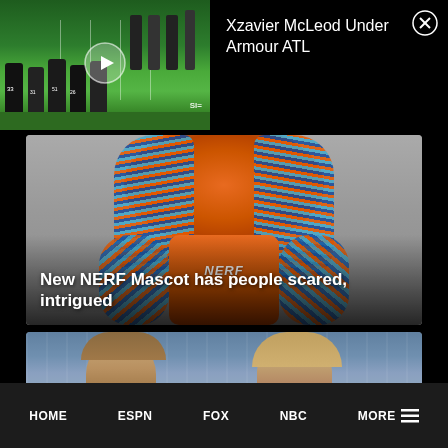[Figure (screenshot): Video thumbnail showing football players on a field with a play button overlay, SI logo watermark]
Xzavier McLeod Under Armour ATL
[Figure (photo): NERF mascot figure covered in colorful orange and blue pom-poms wearing a NERF branded vest]
New NERF Mascot has people scared, intrigued
[Figure (photo): Partial image of two people with light hair in front of a stadium crowd]
HOME   ESPN   FOX   NBC   MORE